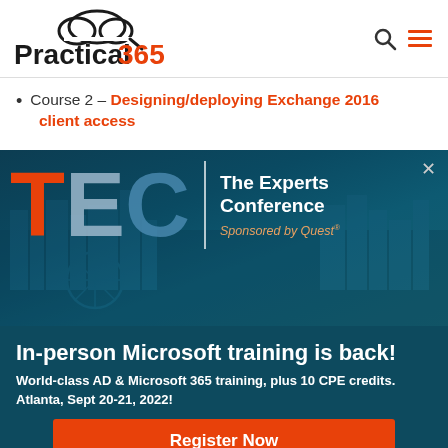Practical 365
Course 2 – Designing/deploying Exchange 2016 client access
[Figure (illustration): TEC – The Experts Conference banner with city skyline background; large TEC letters in orange/blue/grey, vertical divider line, text 'The Experts Conference Sponsored by Quest']
In-person Microsoft training is back!
World-class AD & Microsoft 365 training, plus 10 CPE credits.
Atlanta, Sept 20-21, 2022!
Register Now